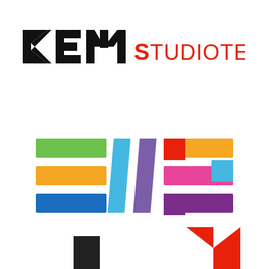[Figure (logo): KEM Studiotechnik logo: bold black block letters 'KEM' followed by red text 'STUDIOTECHNIK']
[Figure (logo): EVS logo made of colorful horizontal bars forming the letter E and stylized geometric V and S letters in multiple colors including green, orange, blue, cyan, purple, red, orange, pink, magenta, cyan, purple]
[Figure (logo): Partial logos visible at bottom: a black square partial logo on the left and a red triangular/chevron partial logo on the right]